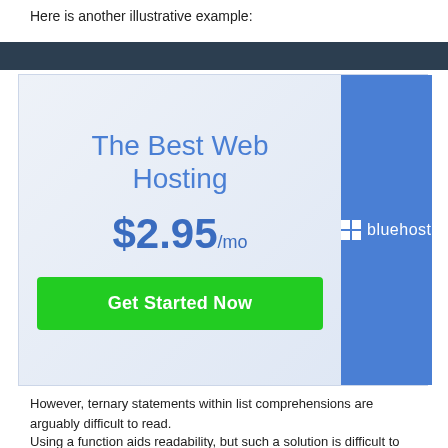Here is another illustrative example:
[Figure (screenshot): Bluehost web hosting advertisement banner showing 'The Best Web Hosting' at $2.95/mo with a green 'Get Started Now' button and the Bluehost logo on a blue sidebar.]
However, ternary statements within list comprehensions are arguably difficult to read.
Using a function aids readability, but such a solution is difficult to extend